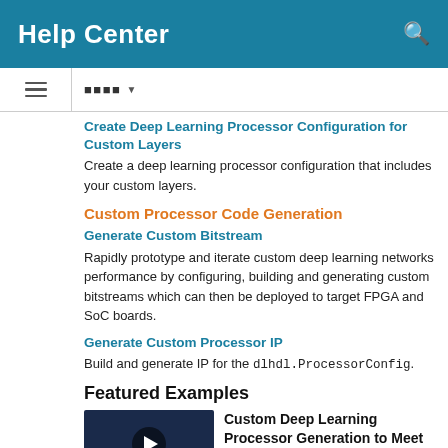Help Center
Create Deep Learning Processor Configuration for Custom Layers
Create a deep learning processor configuration that includes your custom layers.
Custom Processor Code Generation
Generate Custom Bitstream
Rapidly prototype and iterate custom deep learning networks performance by configuring, building and generating custom bitstreams which can then be deployed to target FPGA and SoC boards.
Generate Custom Processor IP
Build and generate IP for the dlhdl.ProcessorConfig.
Featured Examples
Custom Deep Learning Processor Generation to Meet